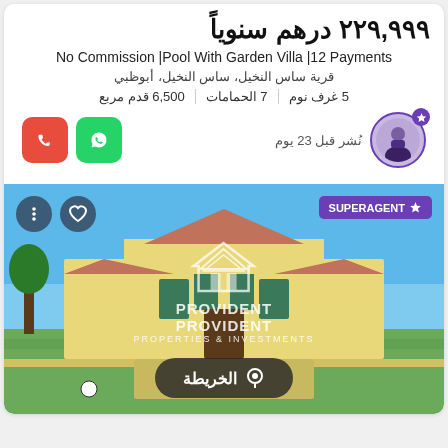٢٢٩,٩٩٩ درهم سنوياً
No Commission |Pool With Garden Villa |12 Payments
قرية ساس النخيل، ساس النخيل، أبوظبي
5 غرف نوم   |   7 الحمامات   |   6,500 قدم مربع
نُشر قبل 23 يوم
[Figure (photo): Exterior photo of a villa with green lawn, yellow walls, arched windows, and a clear blue sky. Overlaid with PROVIDENT PROVIDENT watermark logo and a map button reading 'الخريطة'. SUPERAGENT badge visible in top right corner.]